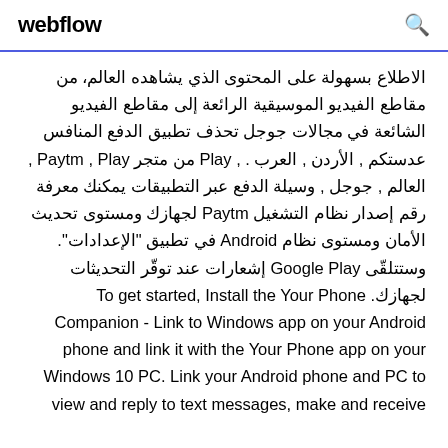webflow
الاطلاع بسهولة على المحتوى الذي يشاهده العالم، من مقاطع الفيديو الموسيقية الرائعة إلى مقاطع الفيديو الشائعة في مجالات جوجل تحذف تطبيق الدفع المنافس عدستكم , الأردن , العرب .‏ , Play من متجر Paytm , Play , العالم , جوجل , وسيلة الدفع عبر التطبيقات يمكنك معرفة رقم إصدار نظام التشغيل Paytm لجهازك ومستوى تحديث الأمان ومستوى نظام Android في تطبيق "الإعدادات". وستتلقّى Google Play إشعارات عند توقّر التحديثات لجهازك. To get started, Install the Your Phone Companion - Link to Windows app on your Android phone and link it with the Your Phone app on your Windows 10 PC. Link your Android phone and PC to view and reply to text messages, make and receive